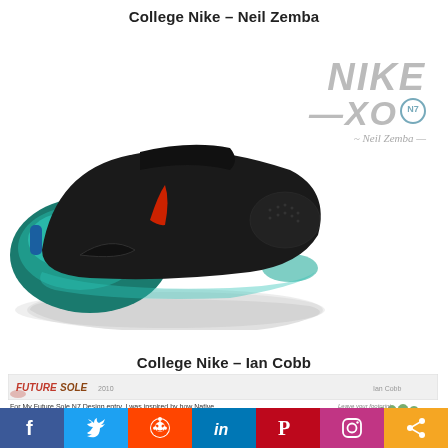College Nike – Neil Zemba
[Figure (illustration): Nike EXO N7 sneaker concept design in black with teal/green midsole and red accent, shown in side profile with reflection below. Nike EXO N7 logo in upper right corner with signature.]
College Nike – Ian Cobb
[Figure (illustration): Ian Cobb's Future Sole N7 design entry banner with logo, year 2010, and designer name Ian Cobb]
For My Future Sole N7 Design entry, I was inspired by how Native Americans walked and ran on land either completly barefoot or wearing moccasins. My design reflects this inspiration
[Figure (illustration): Toe-shoe / barefoot shoe concept in green and brown tones with text 'Leave your footprint']
f  🐦  reddit  in  P  📷  share